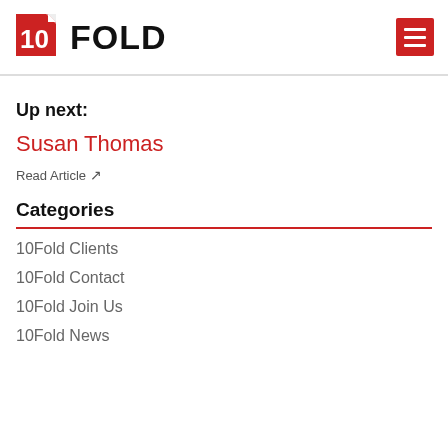10FOLD
Up next:
Susan Thomas
Read Article ↗
Categories
10Fold Clients
10Fold Contact
10Fold Join Us
10Fold News